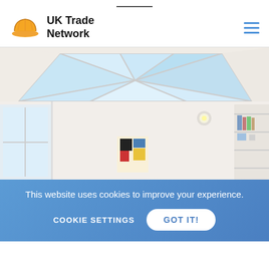UK Trade Network
[Figure (photo): Interior room photo showing a large rectangular skylight/rooflight with white aluminium frames on the ceiling, bright daylight coming through, with a modern white room below including shelving and a window]
This website uses cookies to improve your experience.
COOKIE SETTINGS
GOT IT!